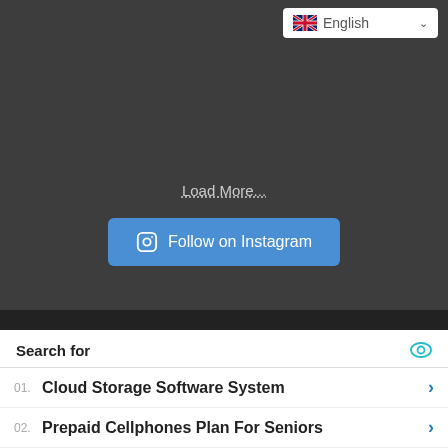[Figure (screenshot): Language selector dropdown showing UK flag and 'English' text with a chevron]
Load More...
[Figure (screenshot): Blue button with Instagram camera icon and text 'Follow on Instagram']
Copyright © 2022 janavar. All Rights Reserved. Privacy Policy
Theme: Gridalicious Pro
Search for
01. Cloud Storage Software System
02. Prepaid Cellphones Plan For Seniors
Yahoo! Search | Sponsored